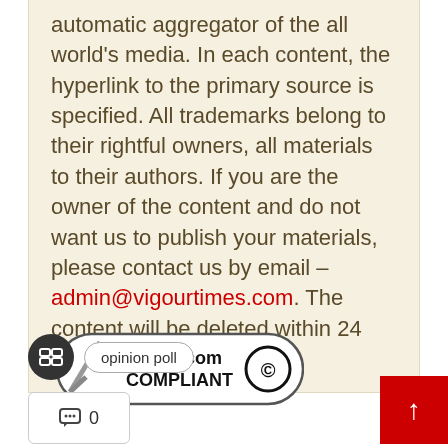automatic aggregator of the all world's media. In each content, the hyperlink to the primary source is specified. All trademarks belong to their rightful owners, all materials to their authors. If you are the owner of the content and do not want us to publish your materials, please contact us by email – admin@vigourtimes.com. The content will be deleted within 24 hours.
[Figure (logo): DMCA.com Compliant badge with checkmark and copyright symbol]
opinion poll
0